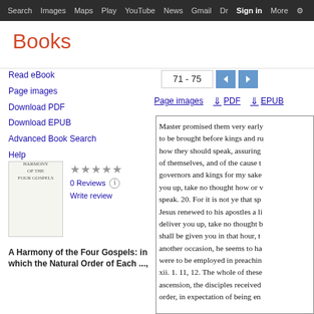Search  Images  Maps  Play  YouTube  News  Gmail  Drive  More  Sign in  Settings
Books
Read eBook
Page images
Download PDF
Download EPUB
Advanced Book Search
Help
My library
[Figure (other): Book cover thumbnail for A Harmony of the Four Gospels]
0 Reviews  Write review
A Harmony of the Four Gospels: in which the Natural Order of Each ...,
71 - 75
Page images  PDF  EPUB
Master promised them very early to be brought before kings and ru how they should speak, assuring of themselves, and of the cause t governors and kings for my sake you up, take no thought how or v speak. 20. For it is not ye that sp Jesus renewed to his apostles a li deliver you up, take no thought b shall be given you in that hour, t another occasion, he seems to ha were to be employed in preachin xii. 1. 11, 12. The whole of these ascension, the disciples received order, in expectation of being en